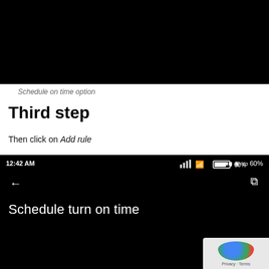[Figure (screenshot): Dark/black screenshot of a mobile phone screen showing schedule on time option (top portion, mostly black)]
Schedule on time option
Third step
Then click on Add rule
[Figure (screenshot): Mobile phone screenshot showing 'Schedule turn on time' screen with status bar showing 12:42 AM, signal bars, WiFi, battery at 60%, back arrow, and share icon. A Google Maps watermark is visible in the bottom right corner with Privacy and Terms text.]